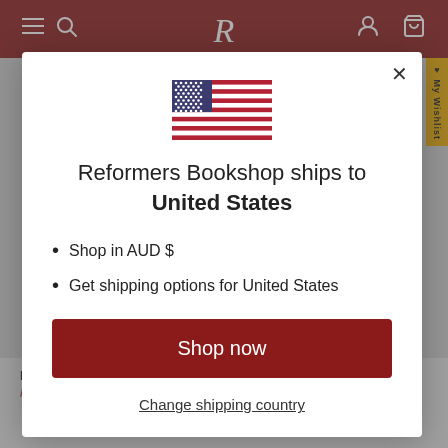[Figure (screenshot): Website header with dark red background showing hamburger menu, search icon, 'R' logo, account icon, and cart icon]
[Figure (illustration): US flag SVG illustration used in modal dialog]
Reformers Bookshop ships to United States
Shop in AUD $
Get shipping options for United States
Shop now
Change shipping country
Mission and Ministry
Paperback
Paperback